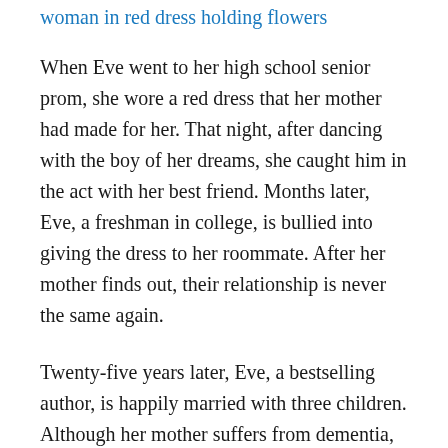woman in red dress holding flowers
When Eve went to her high school senior prom, she wore a red dress that her mother had made for her. That night, after dancing with the boy of her dreams, she caught him in the act with her best friend. Months later, Eve, a freshman in college, is bullied into giving the dress to her roommate. After her mother finds out, their relationship is never the same again.
Twenty-five years later, Eve, a bestselling author, is happily married with three children. Although her mother suffers from dementia, she still remembers, and Eve still harbors the guilt for giving the dress away. When she receives a Facebook friend request from her old